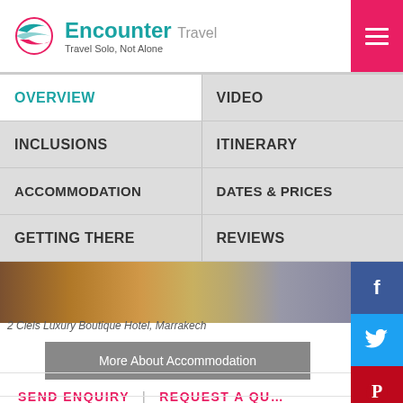Encounter Travel — Travel Solo, Not Alone
OVERVIEW
VIDEO
INCLUSIONS
ITINERARY
ACCOMMODATION
DATES & PRICES
GETTING THERE
REVIEWS
[Figure (photo): Interior photo of 2 Ciels Luxury Boutique Hotel, Marrakech — blurred warm tones with yellow and brown colors]
2 Ciels Luxury Boutique Hotel, Marrakech
More About Accommodation
SEND ENQUIRY  |  REQUEST A QU...